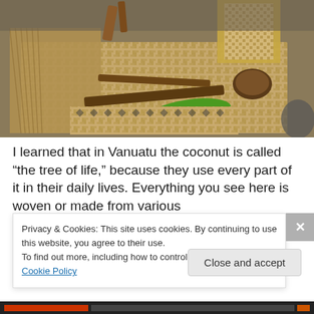[Figure (photo): Woven mats and baskets made from coconut palm leaves and other plant materials, arranged on the ground. Items include woven rectangular mats with diamond patterns, a green leaf, sticks, and a coconut shell. The setting appears to be an outdoor cultural demonstration in Vanuatu.]
I learned that in Vanuatu the coconut is called “the tree of life,” because they use every part of it in their daily lives. Everything you see here is woven or made from various
Privacy & Cookies: This site uses cookies. By continuing to use this website, you agree to their use.
To find out more, including how to control cookies, see here: Cookie Policy
Close and accept